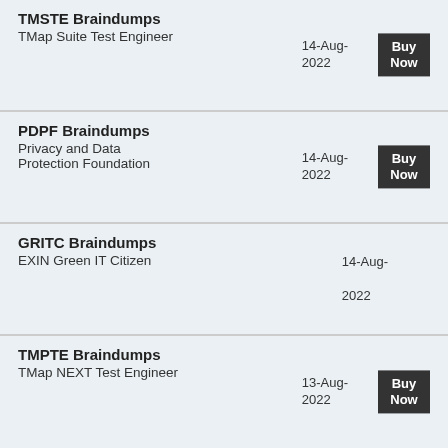| Exam | Date | Action |
| --- | --- | --- |
| TMSTE Braindumps
TMap Suite Test Engineer | 14-Aug-2022 | Buy Now |
| PDPF Braindumps
Privacy and Data Protection Foundation | 14-Aug-2022 | Buy Now |
| GRITC Braindumps
EXIN Green IT Citizen | 14-Aug-2022 |  |
| TMPTE Braindumps
TMap NEXT Test Engineer | 13-Aug-2022 | Buy Now |